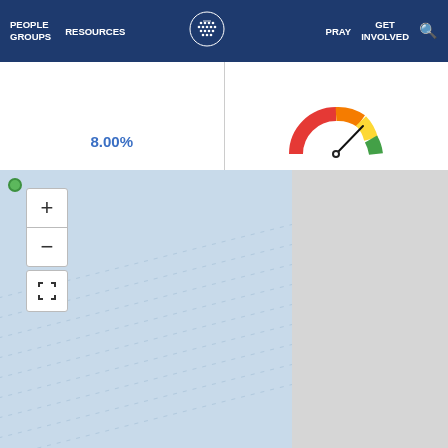PEOPLE GROUPS  RESOURCES  [logo]  PRAY  GET INVOLVED  [search]
8.00%
[Figure (other): Gauge/speedometer chart with red-orange-yellow-green gradient arc, pointer pointing toward green side]
[Figure (map): Interactive map showing ocean (light blue) and land (light gray) regions with zoom controls and fullscreen button. Diagonal dashed lines visible across the ocean area.]